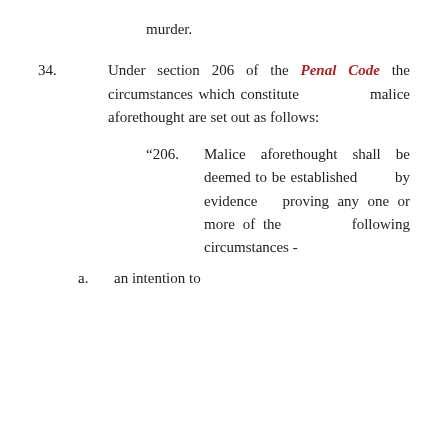murder.
34. Under section 206 of the Penal Code the circumstances which constitute malice aforethought are set out as follows:
“206. Malice aforethought shall be deemed to be established by evidence proving any one or more of the following circumstances -
a. an intention to